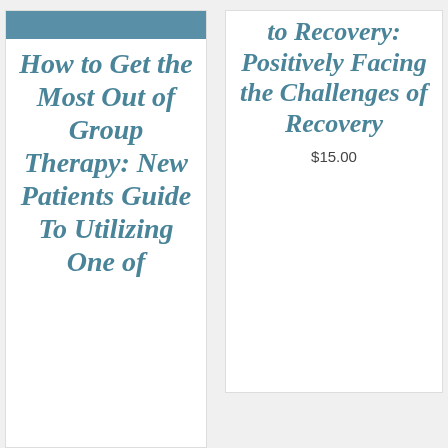[Figure (illustration): Blue header image at top of left book card]
How to Get the Most Out of Group Therapy: New Patients Guide To Utilizing One of
to Recovery: Positively Facing the Challenges of Recovery
$15.00